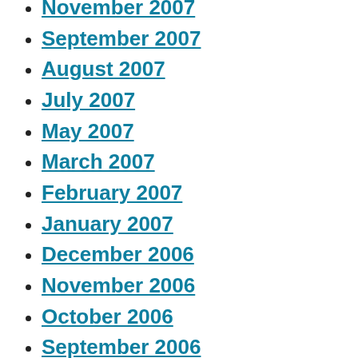November 2007
September 2007
August 2007
July 2007
May 2007
March 2007
February 2007
January 2007
December 2006
November 2006
October 2006
September 2006
August 2006
June 2006
May 2006
April 2006
March 2006